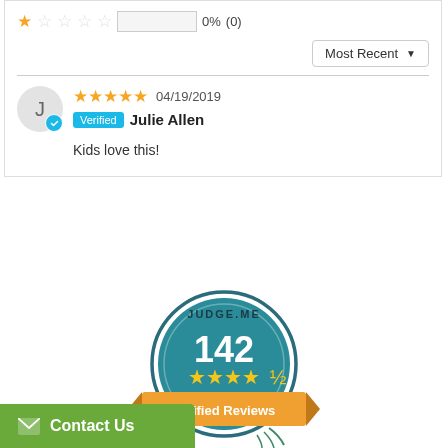1 star 0% (0)
Most Recent ▼
[Figure (other): User review by Julie Allen, 5 stars, 04/19/2019, Verified badge, text: Kids love this!]
[Figure (other): Judge.me badge showing 142 Verified Reviews with 4.5 stars]
Contact Us